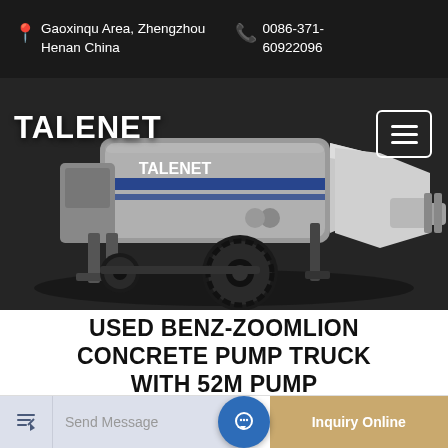Gaoxinqu Area, Zhengzhou Henan China   0086-371-60922096
[Figure (photo): TALENET branded concrete pump truck (trailer-mounted), gray/black color scheme with TALENET logo on the hopper, shown from the left rear side on a dark background. Hamburger menu icon in top right corner.]
USED BENZ-ZOOMLION CONCRETE PUMP TRUCK WITH 52M PUMP
Send Message
Inquiry Online